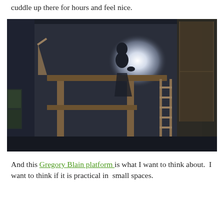cuddle up there for hours and feel nice.
[Figure (photo): A dark room photograph showing a raised platform or loft bed structure made of wood, with a glowing silhouette of a person sitting on top. On the right side there is a wooden ladder leaning against the wall. The scene is dramatically lit with a bright white glow behind the figure creating a silhouette effect.]
And this Gregory Blain platform is what I want to think about.  I want to think if it is practical in  small spaces.